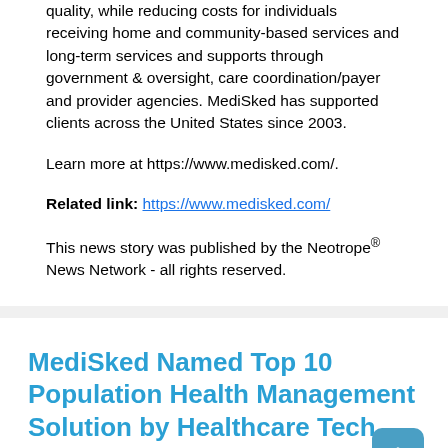quality, while reducing costs for individuals receiving home and community-based services and long-term services and supports through government & oversight, care coordination/payer and provider agencies. MediSked has supported clients across the United States since 2003.
Learn more at https://www.medisked.com/.
Related link: https://www.medisked.com/
This news story was published by the Neotrope® News Network - all rights reserved.
MediSked Named Top 10 Population Health Management Solution by Healthcare Tech Outlook